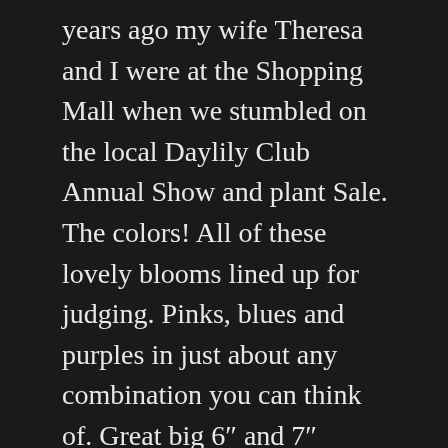years ago my wife Theresa and I were at the Shopping Mall when we stumbled on the local Daylily Club Annual Show and plant Sale. The colors! All of these lovely blooms lined up for judging. Pinks, blues and purples in just about any combination you can think of. Great big 6″ and 7″ blooms. Little bitty ones about 2 1/2″. The combinations were fascinating. We couldn't leave without a few of these plants. We just couldn't. We picked out a few plants and took them home. The next spring we had blooms. Went to the show and plant sale for the second year and bought a few more. Every year we added to our collection and now have nearly 200 plants of all colors shapes and sizes. Talk about addiction!! Every Spring and early